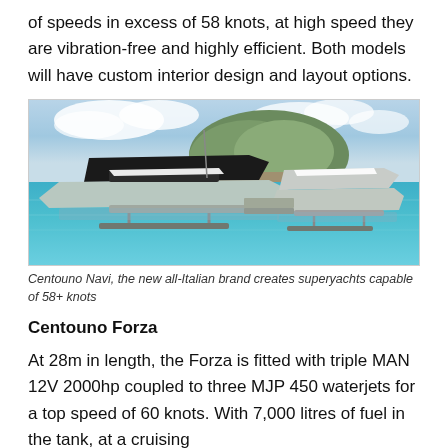of speeds in excess of 58 knots, at high speed they are vibration-free and highly efficient. Both models will have custom interior design and layout options.
[Figure (photo): Two Centouno Navi superyachts moored in turquoise water near a rocky island, showcasing sleek dark hull designs with white canopies and platforms.]
Centouno Navi, the new all-Italian brand creates superyachts capable of 58+ knots
Centouno Forza
At 28m in length, the Forza is fitted with triple MAN 12V 2000hp coupled to three MJP 450 waterjets for a top speed of 60 knots. With 7,000 litres of fuel in the tank, at a cruising